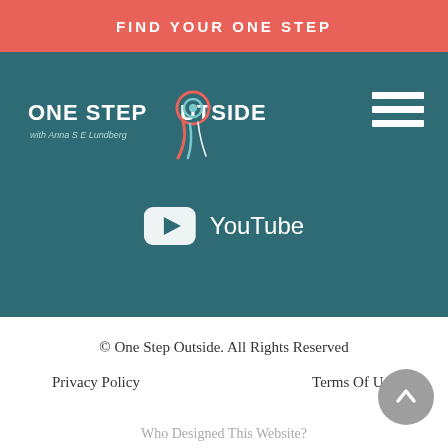FIND YOUR ONE STEP
[Figure (logo): One Step Outside logo with text 'ONE STEP OUTSIDE with Anna S E Lundberg' and a decorative ribbon/pin graphic]
YouTube
© One Step Outside. All Rights Reserved
Privacy Policy
Terms Of Use
Who Designed This Website?